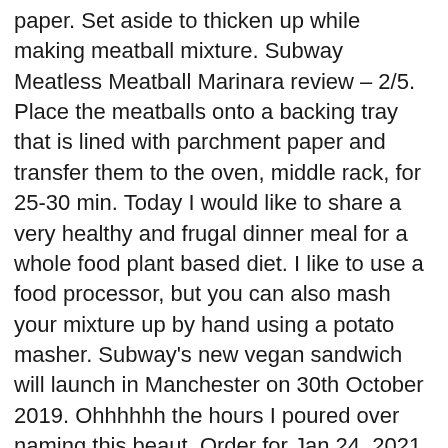paper. Set aside to thicken up while making meatball mixture. Subway Meatless Meatball Marinara review – 2/5. Place the meatballs onto a backing tray that is lined with parchment paper and transfer them to the oven, middle rack, for 25-30 min. Today I would like to share a very healthy and frugal dinner meal for a whole food plant based diet. I like to use a food processor, but you can also mash your mixture up by hand using a potato masher. Subway's new vegan sandwich will launch in Manchester on 30th October 2019. Ohhhhhh the hours I poured over naming this beaut. Order for Jan 24, 2021. DON'T overwork it, you don't want a paste. Baked lentil and mushroom meatballs smothered in marinara sauce and served up in a crusty … We'll assume you're ok with this, but you can opt-out if you wish. Cauliflower meatballs are tossed in a simple marinara sauce before being layered in toasted rolls to make these Mini Vegan Meatball Subs. 10. The Meatless Meatball Marinara isn't the only option for vegans at Subway, as it joins an already mouth-watering line up of meat-free